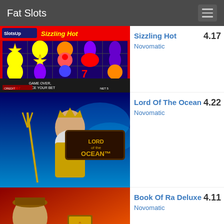Fat Slots
Sizzling Hot  Novomatic  4.17
Lord Of The Ocean  Novomatic  4.22
Book Of Ra Deluxe  Novomatic  4.11